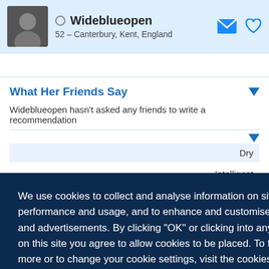Wideblueopen — 52 – Canterbury, Kent, England
What Her Friends Say
Wideblueopen hasn't asked any friends to write a recommendation
We use cookies to collect and analyse information on site performance and usage, and to enhance and customise content and advertisements. By clicking "OK" or clicking into any content on this site you agree to allow cookies to be placed. To find out more or to change your cookie settings, visit the cookies section of our Privacy Policy.
Dry
Intelligent